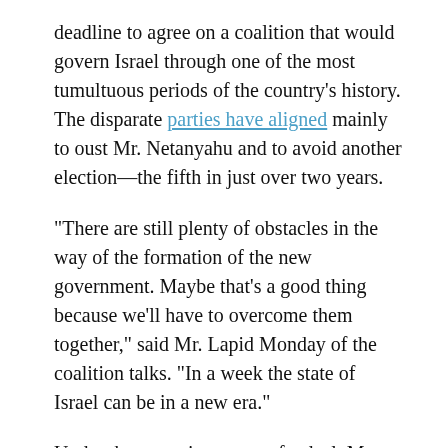deadline to agree on a coalition that would govern Israel through one of the most tumultuous periods of the country's history. The disparate parties have aligned mainly to oust Mr. Netanyahu and to avoid another election—the fifth in just over two years.
“There are still plenty of obstacles in the way of the formation of the new government. Maybe that’s a good thing because we’ll have to overcome them together,” said Mr. Lapid Monday of the coalition talks. “In a week the state of Israel can be in a new era.”
Under the emerging terms of a deal, Mr. Bennett will serve first as prime minister for two years and then Mr. Lapid will succeed him. The other parties that are expected to be part of the government are left-wing Labor and Meretz, centrist Blue